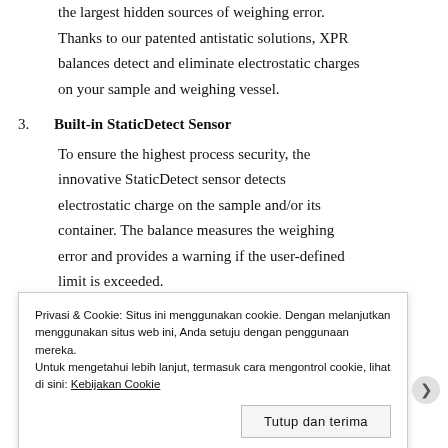the largest hidden sources of weighing error. Thanks to our patented antistatic solutions, XPR balances detect and eliminate electrostatic charges on your sample and weighing vessel.
3. Built-in StaticDetect Sensor
To ensure the highest process security, the innovative StaticDetect sensor detects electrostatic charge on the sample and/or its container. The balance measures the weighing error and provides a warning if the user-defined limit is exceeded.
Privasi & Cookie: Situs ini menggunakan cookie. Dengan melanjutkan menggunakan situs web ini, Anda setuju dengan penggunaan mereka.
Untuk mengetahui lebih lanjut, termasuk cara mengontrol cookie, lihat di sini: Kebijakan Cookie
Tutup dan terima